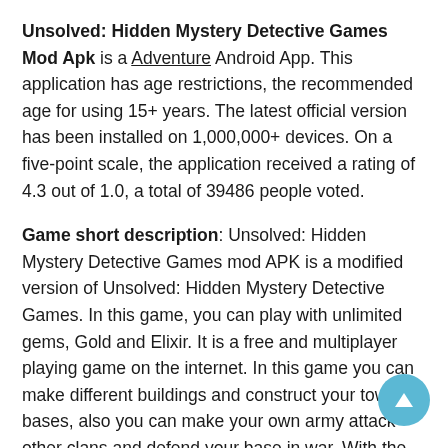Unsolved: Hidden Mystery Detective Games Mod Apk is a Adventure Android App. This application has age restrictions, the recommended age for using 15+ years. The latest official version has been installed on 1,000,000+ devices. On a five-point scale, the application received a rating of 4.3 out of 1.0, a total of 39486 people voted.
Game short description: Unsolved: Hidden Mystery Detective Games mod APK is a modified version of Unsolved: Hidden Mystery Detective Games. In this game, you can play with unlimited gems, Gold and Elixir. It is a free and multiplayer playing game on the internet. In this game you can make different buildings and construct your town bases, also you can make your own army attack other clans and defend your base in war. With the increase in level, you have new recourses and characters.